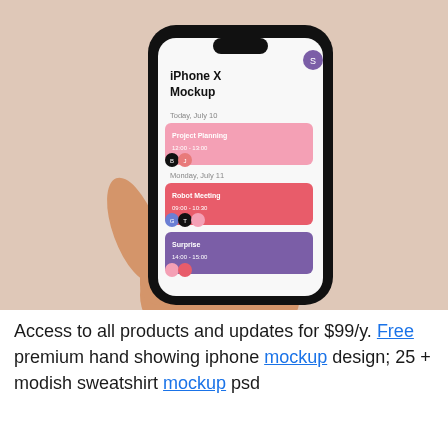[Figure (photo): A hand holding an iPhone X with a black case. The phone screen shows a scheduling app with sections labeled 'iPhone X Mockup', 'Today, July 10' with a pink event card 'Project Planning', 'Monday, July 11' with a red card 'Robot Meeting', and a purple card 'Surprise'. Background is a warm beige/pink tone.]
Access to all products and updates for $99/y. Free premium hand showing iphone mockup design; 25 + modish sweatshirt mockup psd